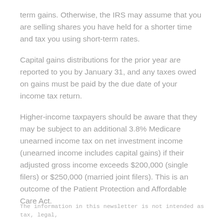term gains. Otherwise, the IRS may assume that you are selling shares you have held for a shorter time and tax you using short-term rates.
Capital gains distributions for the prior year are reported to you by January 31, and any taxes owed on gains must be paid by the due date of your income tax return.
Higher-income taxpayers should be aware that they may be subject to an additional 3.8% Medicare unearned income tax on net investment income (unearned income includes capital gains) if their adjusted gross income exceeds $200,000 (single filers) or $250,000 (married joint filers). This is an outcome of the Patient Protection and Affordable Care Act.
The information in this newsletter is not intended as tax, legal,